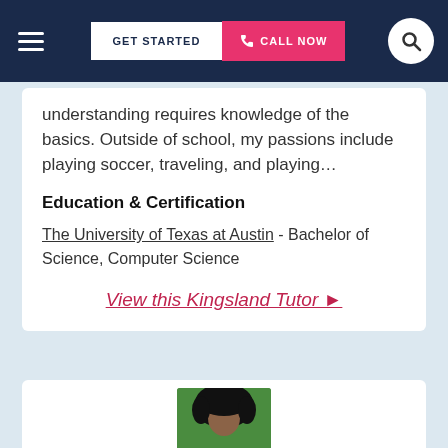GET STARTED | CALL NOW
understanding requires knowledge of the basics. Outside of school, my passions include playing soccer, traveling, and playing...
Education & Certification
The University of Texas at Austin - Bachelor of Science, Computer Science
View this Kingsland Tutor ▶
[Figure (photo): Partial photo of a tutor with dark curly hair against a green background]